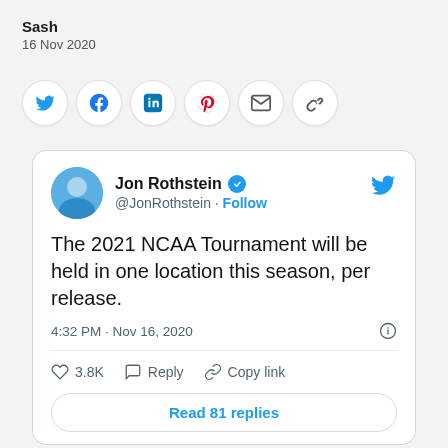Sash
16 Nov 2020
[Figure (infographic): Row of social share buttons: Twitter, Facebook, LinkedIn, Pinterest, Email, Copy link — each in a white circle]
[Figure (screenshot): Embedded tweet card from Jon Rothstein (@JonRothstein) with blue verified checkmark and Follow link. Tweet text: 'The 2021 NCAA Tournament will be held in one location this season, per release.' Timestamp: 4:32 PM · Nov 16, 2020. Likes: 3.8K. Actions: Reply, Copy link. Button: Read 81 replies.]
One of the biggest travesties from 2020 was